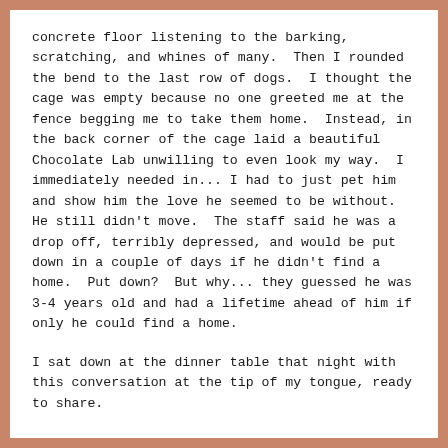concrete floor listening to the barking, scratching, and whines of many.  Then I rounded the bend to the last row of dogs.  I thought the cage was empty because no one greeted me at the fence begging me to take them home.  Instead, in the back corner of the cage laid a beautiful Chocolate Lab unwilling to even look my way.  I immediately needed in... I had to just pet him and show him the love he seemed to be without.  He still didn't move.  The staff said he was a drop off, terribly depressed, and would be put down in a couple of days if he didn't find a home.  Put down?  But why... they guessed he was 3-4 years old and had a lifetime ahead of him if only he could find a home.
I sat down at the dinner table that night with this conversation at the tip of my tongue, ready to share.